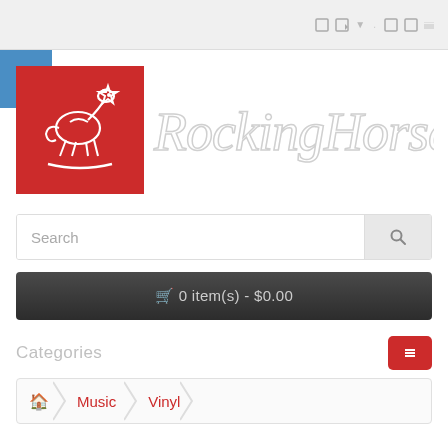Navigation bar with icons
[Figure (logo): Rocking Horse store logo: red square with white rocking horse outline illustration and a star, beside a cursive 'Rocking Horse' brand name in light gray outline text]
Search
🛒 0 item(s) - $0.00
Categories
🏠 Music Vinyl